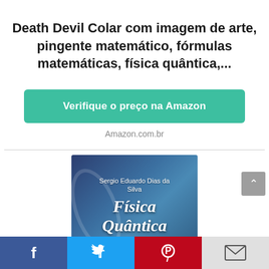Death Devil Colar com imagem de arte, pingente matemático, fórmulas matemáticas, física quântica,...
Verifique o preço na Amazon
Amazon.com.br
[Figure (photo): Book cover of 'Física Quântica' by Sergio Eduardo Dias da Silva, dark blue background with mathematical symbols]
Facebook | Twitter | Pinterest | Email